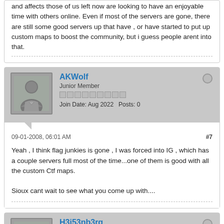and affects those of us left now are looking to have an enjoyable time with others online. Even if most of the servers are gone, there are still some good servers up that have , or have started to put up custom maps to boost the community, but i guess people arent into that.
AKWolf
Junior Member
Join Date: Aug 2022  Posts: 0
09-01-2008, 06:01 AM
#7
Yeah , I think flag junkies is gone , I was forced into IG , which has a couple servers full most of the time...one of them is good with all the custom Ctf maps.

Sioux cant wait to see what you come up with....
H3i53nb3rg
Junior Member
Join Date: Aug 2022  Posts: 0